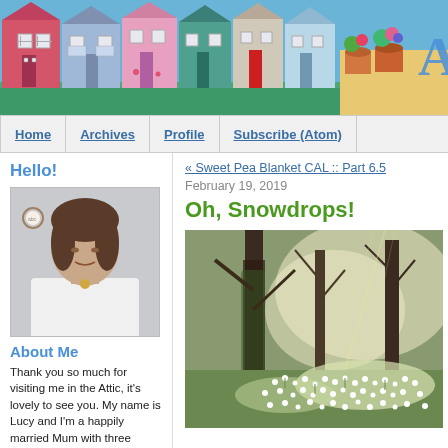[Figure (illustration): Blog header banner showing colorful illustrated terraced houses in pink, blue, teal, and red against a blue sky background, with flower pots and the letter A visible on the right side.]
Home | Archives | Profile | Subscribe (Atom)
Hello!
[Figure (photo): Portrait photo of a woman with brown hair wearing a white top and a pendant necklace, with a framed embroidery hoop on the wall behind her.]
About Me
Thank you so much for visiting me in the Attic, it's lovely to see you. My name is Lucy and I'm a happily married Mum with three children. We live in a cosy terraced house on the edge of the Yorkshire Dales in England.
« Sweet Pea Blanket CAL :: Part 6.5
February 19, 2019
Oh, Snowdrops!
[Figure (photo): Photograph of a woodland garden carpeted with white snowdrop flowers under trees, with bright sunlight filtering through the branches.]